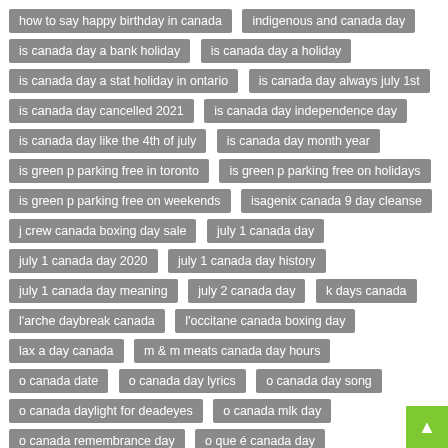how to say happy birthday in canada
indigenous and canada day
is canada day a bank holiday
is canada day a holiday
is canada day a stat holiday in ontario
is canada day always july 1st
is canada day cancelled 2021
is canada day independence day
is canada day like the 4th of july
is canada day month year
is green p parking free in toronto
is green p parking free on holidays
is green p parking free on weekends
isagenix canada 9 day cleanse
j crew canada boxing day sale
july 1 canada day
july 1 canada day 2020
july 1 canada day history
july 1 canada day meaning
july 2 canada day
k days canada
l'arche daybreak canada
l'occitane canada boxing day
lax a day canada
m & m meats canada day hours
o canada date
o canada day lyrics
o canada day song
o canada daylight for deadeyes
o canada mlk day
o canada remembrance day
o que é canada day
petro canada 90 day car wash pass
place where 6 months day and 6 months night
quebec and canada day
r u ok day canada